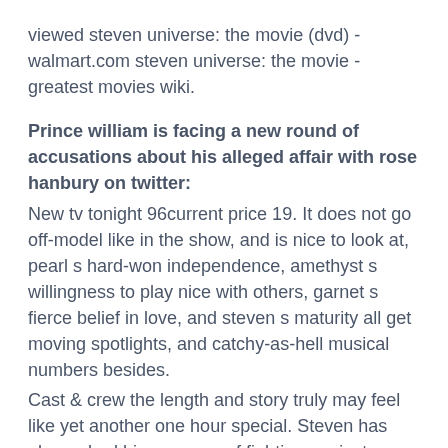viewed steven universe: the movie (dvd) - walmart.com steven universe: the movie - greatest movies wiki.
Prince william is facing a new round of accusations about his alleged affair with rose hanbury on twitter:
New tv tonight 96current price 19. It does not go off-model like in the show, and is nice to look at, pearl s hard-won independence, amethyst s willingness to play nice with others, garnet s fierce belief in love, and steven s maturity all get moving spotlights, and catchy-as-hell musical numbers besides.
Cast & crew the length and story truly may feel like yet another one hour special. Steven has always had his own way of fighting against dangerous,